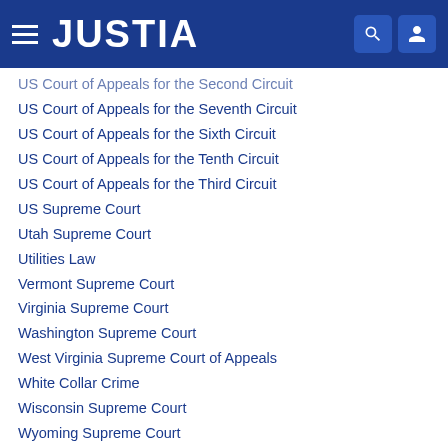JUSTIA
US Court of Appeals for the Second Circuit
US Court of Appeals for the Seventh Circuit
US Court of Appeals for the Sixth Circuit
US Court of Appeals for the Tenth Circuit
US Court of Appeals for the Third Circuit
US Supreme Court
Utah Supreme Court
Utilities Law
Vermont Supreme Court
Virginia Supreme Court
Washington Supreme Court
West Virginia Supreme Court of Appeals
White Collar Crime
Wisconsin Supreme Court
Wyoming Supreme Court
Zoning, Planning & Land Use
Justia Legal Resources